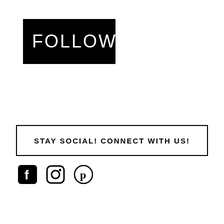FOLLOW
STAY SOCIAL! CONNECT WITH US!
[Figure (illustration): Three social media icons: Facebook, Instagram, Pinterest]